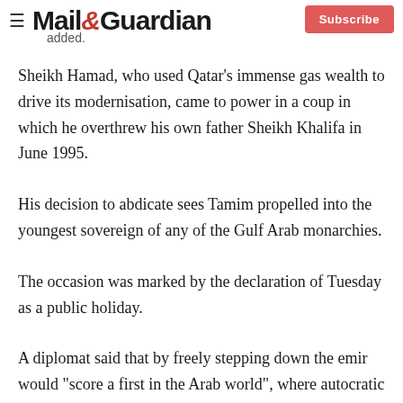Mail&Guardian  Subscribe
added.
Sheikh Hamad, who used Qatar's immense gas wealth to drive its modernisation, came to power in a coup in which he overthrew his own father Sheikh Khalifa in June 1995.
His decision to abdicate sees Tamim propelled into the youngest sovereign of any of the Gulf Arab monarchies.
The occasion was marked by the declaration of Tuesday as a public holiday.
A diplomat said that by freely stepping down the emir would "score a first in the Arab world", where autocratic rulers held power uncontested for decades